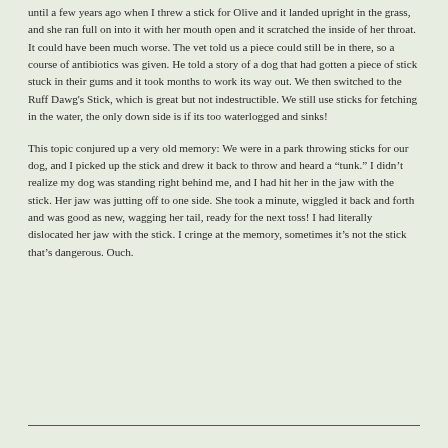until a few years ago when I threw a stick for Olive and it landed upright in the grass, and she ran full on into it with her mouth open and it scratched the inside of her throat. It could have been much worse. The vet told us a piece could still be in there, so a course of antibiotics was given. He told a story of a dog that had gotten a piece of stick stuck in their gums and it took months to work its way out. We then switched to the Ruff Dawg's Stick, which is great but not indestructible. We still use sticks for fetching in the water, the only down side is if its too waterlogged and sinks!
This topic conjured up a very old memory: We were in a park throwing sticks for our dog, and I picked up the stick and drew it back to throw and heard a "tunk." I didn't realize my dog was standing right behind me, and I had hit her in the jaw with the stick. Her jaw was jutting off to one side. She took a minute, wiggled it back and forth and was good as new, wagging her tail, ready for the next toss! I had literally dislocated her jaw with the stick. I cringe at the memory, sometimes it's not the stick that's dangerous. Ouch.